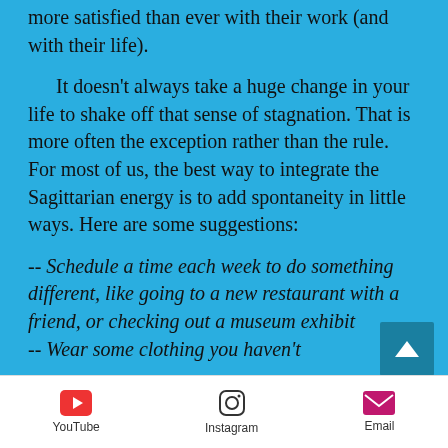more satisfied than ever with their work (and with their life).
It doesn't always take a huge change in your life to shake off that sense of stagnation. That is more often the exception rather than the rule. For most of us, the best way to integrate the Sagittarian energy is to add spontaneity in little ways. Here are some suggestions:
-- Schedule a time each week to do something different, like going to a new restaurant with a friend, or checking out a museum exhibit
-- Wear some clothing you haven't
[Figure (other): Scroll-to-top button with upward chevron on teal background]
YouTube   Instagram   Email